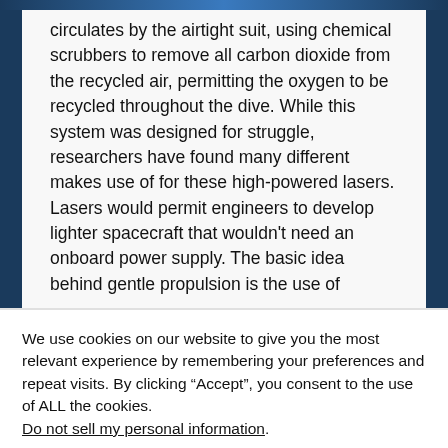circulates by the airtight suit, using chemical scrubbers to remove all carbon dioxide from the recycled air, permitting the oxygen to be recycled throughout the dive. While this system was designed for struggle, researchers have found many different makes use of for these high-powered lasers. Lasers would permit engineers to develop lighter spacecraft that wouldn't need an onboard power supply. The basic idea behind gentle propulsion is the use of
We use cookies on our website to give you the most relevant experience by remembering your preferences and repeat visits. By clicking "Accept", you consent to the use of ALL the cookies. Do not sell my personal information.